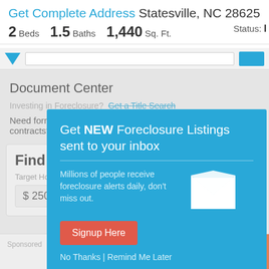Get Complete Address Statesville, NC 28625
2 Beds  1.5 Baths  1,440 Sq. Ft.   Status: I
Document Center
Investing in Foreclosure?  Get a Title Search
Need forms and contracts?:
Find the Be
Target Home Price
$ 250,000
[Figure (screenshot): Popup modal overlay: Get NEW Foreclosure Listings sent to your inbox. Signup Here button. No Thanks | Remind Me Later links.]
Sponsored
$0 Down VA Loan for Veterans
Find Out if You Qualify For This Powerful